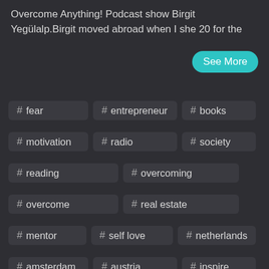Overcome Anything! Podcast show Birgit Yegülalp.Birgit moved abroad when I she 20 for the
See More
# fear
# entrepreneur
# books
# motivation
# radio
# society
# reading
# overcoming
# overcome
# real estate
# mentor
# self love
# netherlands
# amsterdam
# austria
# inspire
# nlp
# malta
# life insurance